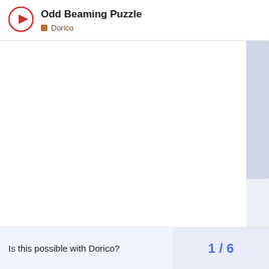Odd Beaming Puzzle — Dorico
[Figure (other): Large blank white content area with a light blue/lavender scrollbar on the right side, representing a music notation forum thread with an embedded image that is not visible]
Is this possible with Dorico?
1 / 6